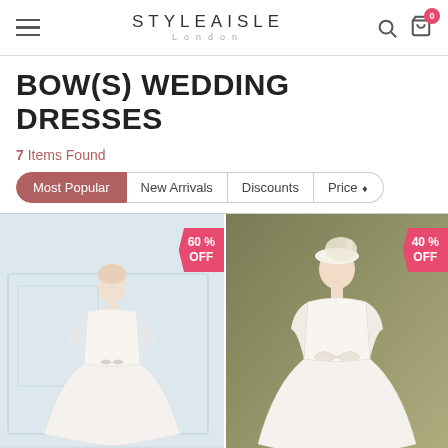STYLEAISLE London
BOW(S) WEDDING DRESSES
7 Items Found
Most Popular
New Arrivals
Discounts
Price
[Figure (photo): Wedding dress product photo left: short ivory A-line wedding dress with bow, model in light blue/grey studio. 60% OFF badge in top right corner.]
[Figure (photo): Wedding dress product photo right: vintage-style ivory ball gown with bow at waist, model wearing hat, olive/khaki background. 40% OFF badge in top right corner.]